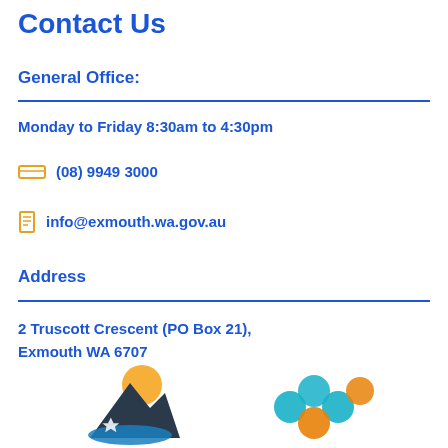Contact Us
General Office:
Monday to Friday 8:30am to 4:30pm
(08) 9949 3000
info@exmouth.wa.gov.au
Address
2 Truscott Crescent (PO Box 21), Exmouth WA 6707
[Figure (logo): Shire of Exmouth logo with mountain and water]
[Figure (logo): Circular interconnected rings logo]